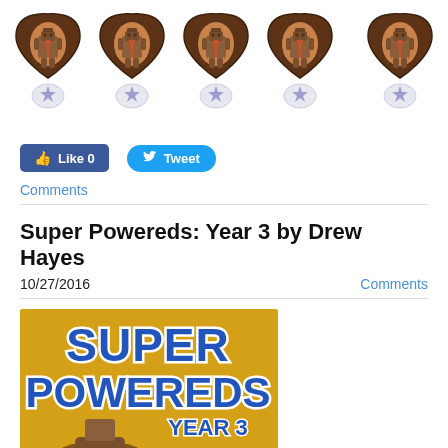[Figure (illustration): Row of 5 decorative heart-shaped icons each containing a brown football figure wearing a tie, with purple star badges below each heart, on white background]
[Figure (infographic): Social buttons row: Facebook Like button showing 'Like 0' and a Twitter Tweet button]
Comments
Super Powereds: Year 3 by Drew Hayes
10/27/2016  Comments
[Figure (photo): Book cover of Super Powereds Year 3 on a golden/yellow background with blue and white stylized text reading SUPER POWEREDS YEAR 3 and a cartoon character at the bottom]